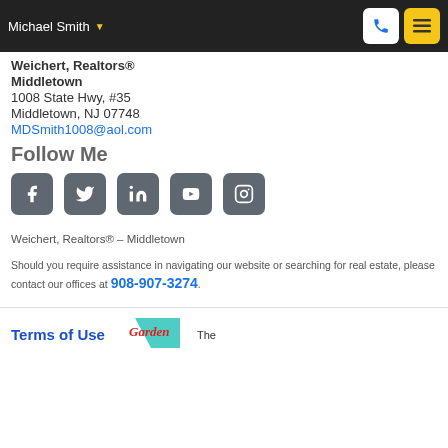Michael Smith
Weichert, Realtors® Middletown
1008 State Hwy, #35
Middletown, NJ 07748
MDSmith1008@aol.com
Follow Me
[Figure (infographic): Social media icons: Facebook, Twitter, LinkedIn, YouTube, Instagram]
Weichert, Realtors® – Middletown
Should you require assistance in navigating our website or searching for real estate, please contact our offices at 908-907-3274.
Terms of Use
[Figure (logo): Garden State logo]
The